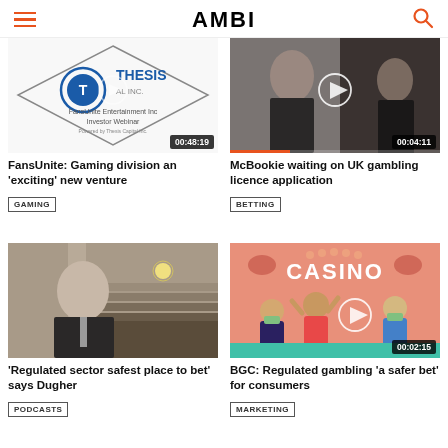AMBI
[Figure (screenshot): Thesis Capital Inc. / FansUnite Entertainment Inc Investor Webinar thumbnail with play button, duration 00:48:19]
FansUnite: Gaming division an 'exciting' new venture
GAMING
[Figure (screenshot): McBookie video thumbnail showing two men with play button, duration 00:04:11]
McBookie waiting on UK gambling licence application
BETTING
[Figure (photo): Man in dark suit standing in a classical building interior]
'Regulated sector safest place to bet' says Dugher
PODCASTS
[Figure (screenshot): Casino themed animation with masked people and play button, duration 00:02:15]
BGC: Regulated gambling 'a safer bet' for consumers
MARKETING